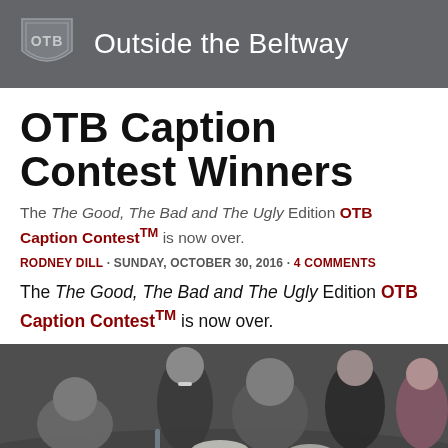Outside the Beltway
OTB Caption Contest Winners
The The Good, The Bad and The Ugly Edition OTB Caption Contest™ is now over.
RODNEY DILL · SUNDAY, OCTOBER 30, 2016 · 4 COMMENTS
The The Good, The Bad and The Ugly Edition OTB Caption Contest™ is now over.
[Figure (photo): Photograph of people laughing at a formal dinner event, including recognizable figures seated at a banquet table with flowers and candles.]